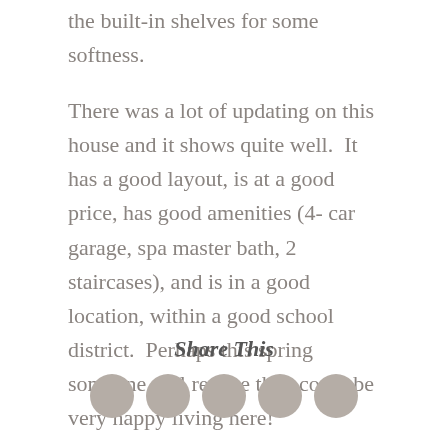the built-in shelves for some softness.
There was a lot of updating on this house and it shows quite well.  It has a good layout, is at a good price, has good amenities (4- car garage, spa master bath, 2 staircases), and is in a good location, within a good school district.  Perhaps this spring someone will realize they could be very happy living here!
Share This